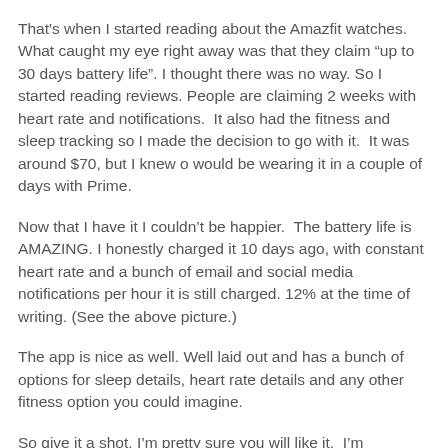That's when I started reading about the Amazfit watches. What caught my eye right away was that they claim “up to 30 days battery life”. I thought there was no way. So I started reading reviews. People are claiming 2 weeks with heart rate and notifications. It also had the fitness and sleep tracking so I made the decision to go with it. It was around $70, but I knew o would be wearing it in a couple of days with Prime.
Now that I have it I couldn’t be happier. The battery life is AMAZING. I honestly charged it 10 days ago, with constant heart rate and a bunch of email and social media notifications per hour it is still charged. 12% at the time of writing. (See the above picture.)
The app is nice as well. Well laid out and has a bunch of options for sleep details, heart rate details and any other fitness option you could imagine.
So give it a shot. I’m pretty sure you will like it. I’m convinced